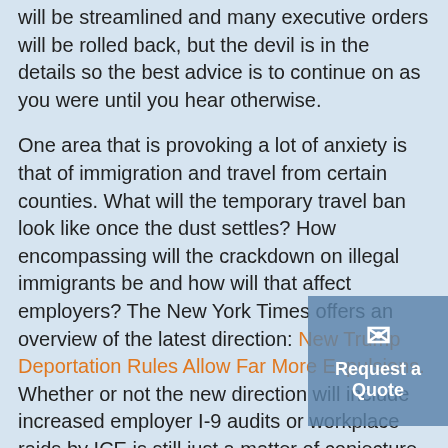will be streamlined and many executive orders will be rolled back, but the devil is in the details so the best advice is to continue on as you were until you hear otherwise.
One area that is provoking a lot of anxiety is that of immigration and travel from certain counties. What will the temporary travel ban look like once the dust settles? How encompassing will the crackdown on illegal immigrants be and how will that affect employers? The New York Times offers an overview of the latest direction: New Trump Deportation Rules Allow Far More Expulsions. Whether or not the new direction will include increased employer I-9 audits or workplace raids by ICE is still just a matter of conjecture.
[Figure (other): Request a Quote widget with envelope icon, blue-grey background]
Time and the appointment of a new Secretary of Labor will offer some clarity on these issues. Until then, business as usual is the best rule of thumb.  We've compiled authorized resources for I-9 and E-verify, as well as some informed